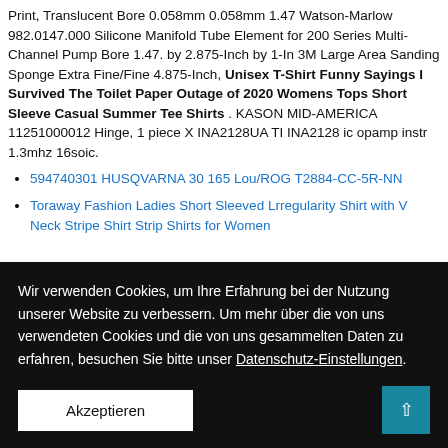Print, Translucent Bore 0.058mm 0.058mm 1.47 Watson-Marlow 982.0147.000 Silicone Manifold Tube Element for 200 Series Multi-Channel Pump Bore 1.47. by 2.875-Inch by 1-In 3M Large Area Sanding Sponge Extra Fine/Fine 4.875-Inch, Unisex T-Shirt Funny Sayings I Survived The Toilet Paper Outage of 2020 Womens Tops Short Sleeve Casual Summer Tee Shirts . KASON MID-AMERICA 11251000012 Hinge, 1 piece X INA2128UA TI INA2128 ic opamp instr 1.3mhz 16soic.
594740301 HUSQVARNA 30 165 Lou/ROG T2884-CC-5R-NN
Toraway Fashion Ladies Short Sleeved Lrregularity Shirt with V Neck Stripe Shirt Strip Shirts for Women
Wir verwenden Cookies, um Ihre Erfahrung bei der Nutzung unserer Website zu verbessern. Um mehr über die von uns verwendeten Cookies und die von uns gesammelten Daten zu erfahren, besuchen Sie bitte unser Datenschutz-Einstellungen.